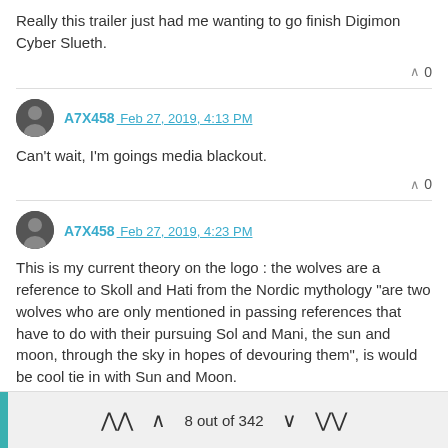Really this trailer just had me wanting to go finish Digimon Cyber Slueth.
^ 0
A7X458 Feb 27, 2019, 4:13 PM
Can't wait, I'm goings media blackout.
^ 0
A7X458 Feb 27, 2019, 4:23 PM
This is my current theory on the logo : the wolves are a reference to Skoll and Hati from the Nordic mythology "are two wolves who are only mentioned in passing references that have to do with their pursuing Sol and Mani, the sun and moon, through the sky in hopes of devouring them", is would be cool tie in with Sun and Moon.
^ 0
8 out of 342